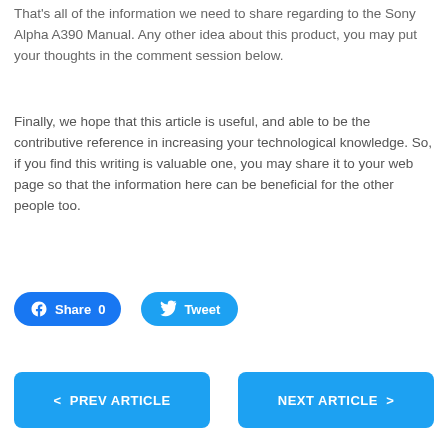That's all of the information we need to share regarding to the Sony Alpha A390 Manual. Any other idea about this product, you may put your thoughts in the comment session below.
Finally, we hope that this article is useful, and able to be the contributive reference in increasing your technological knowledge. So, if you find this writing is valuable one, you may share it to your web page so that the information here can be beneficial for the other people too.
[Figure (other): Social sharing buttons: Facebook Share 0 and Twitter Tweet]
[Figure (other): Navigation buttons: PREV ARTICLE (left) and NEXT ARTICLE (right)]